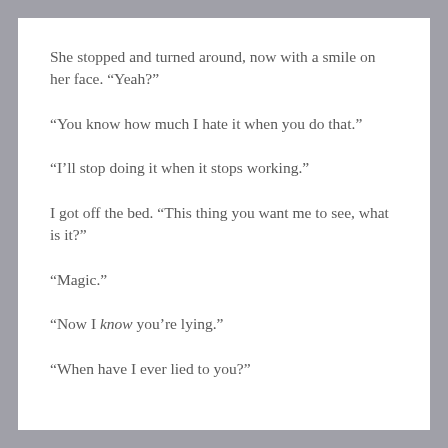She stopped and turned around, now with a smile on her face. “Yeah?”
“You know how much I hate it when you do that.”
“I’ll stop doing it when it stops working.”
I got off the bed. “This thing you want me to see, what is it?”
“Magic.”
“Now I know you’re lying.”
“When have I ever lied to you?”